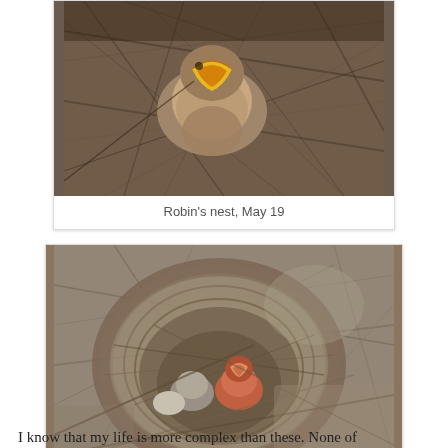[Figure (photo): Close-up photo of baby birds in a robin's nest, with one chick visible with yellow beak open wide, surrounded by twigs and straw.]
Robin's nest, May 19
[Figure (photo): Photo of a cardinal's nest made of dry twigs and grass, with small baby birds visible inside the circular nest structure.]
Cardinal's nest, May 21
I know that my life is more complex than these. None of